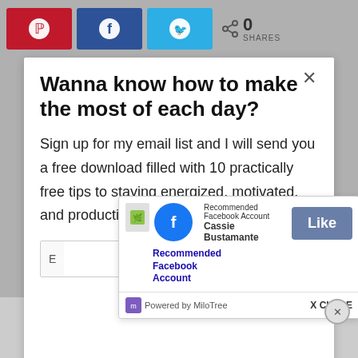[Figure (screenshot): Share bar with Pinterest (red), Facebook (blue), Twitter (light blue) buttons and share count showing 0 SHARES]
Wanna know how to make the most of each day?
Sign up for my email list and I will send you a free download filled with 10 practically free tips to staying energized, motivated, and productive.
[Figure (screenshot): MiloTree popup recommending Facebook account 'Cassie Bustamante' with a Like button and Powered by MiloTree footer with X CLOSE button]